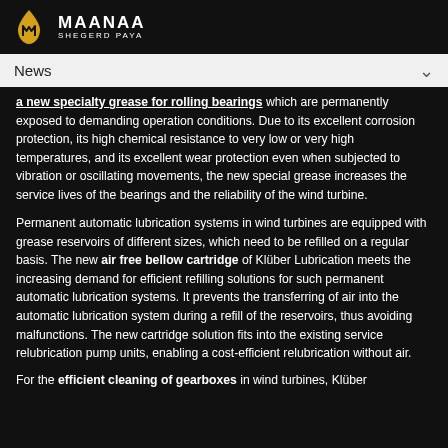MAANAA SHEGERD PAYA
News
a new specialty grease for rolling bearings which are permanently exposed to demanding operation conditions. Due to its excellent corrosion protection, its high chemical resistance to very low or very high temperatures, and its excellent wear protection even when subjected to vibration or oscillating movements, the new special grease increases the service lives of the bearings and the reliability of the wind turbine.
Permanent automatic lubrication systems in wind turbines are equipped with grease reservoirs of different sizes, which need to be refilled on a regular basis. The new air free bellow cartridge of Klüber Lubrication meets the increasing demand for efficient refilling solutions for such permanent automatic lubrication systems. It prevents the transferring of air into the automatic lubrication system during a refill of the reservoirs, thus avoiding malfunctions. The new cartridge solution fits into the existing service relubrication pump units, enabling a cost-efficient relubrication without air.
For the efficient cleaning of gearboxes in wind turbines, Klüber